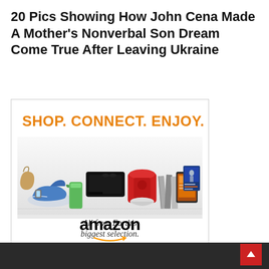20 Pics Showing How John Cena Made A Mother's Nonverbal Son Dream Come True After Leaving Ukraine
[Figure (illustration): Amazon advertisement banner showing 'SHOP. CONNECT. ENJOY.' in orange bold text, product images including a gaming console, kitchen mixer, blender drink, books, Kindle tablet, and a Star Trek movie case, with text 'All from Earth's biggest selection.' and the Amazon logo with smile arrow underneath. Privacy label in bottom left corner.]